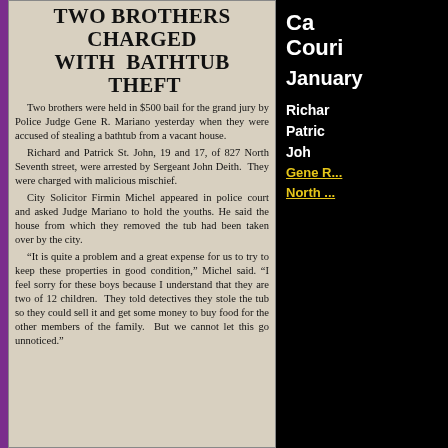TWO BROTHERS CHARGED WITH BATHTUB THEFT
Two brothers were held in $500 bail for the grand jury by Police Judge Gene R. Mariano yesterday when they were accused of stealing a bathtub from a vacant house.

Richard and Patrick St. John, 19 and 17, of 827 North Seventh street, were arrested by Sergeant John Deith. They were charged with malicious mischief.

City Solicitor Firmin Michel appeared in police court and asked Judge Mariano to hold the youths. He said the house from which they removed the tub had been taken over by the city.

"It is quite a problem and a great expense for us to try to keep these properties in good condition," Michel said. "I feel sorry for these boys because I understand that they are two of 12 children. They told detectives they stole the tub so they could sell it and get some money to buy food for the other members of the family. But we cannot let this go unnoticed."
Ca
Couri

January

Richard
Patric
Joh
Gene R...
North ...